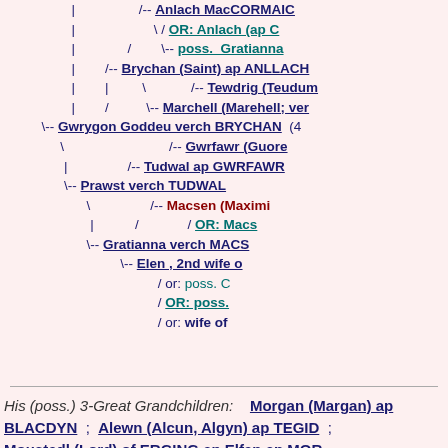[Figure (other): Genealogical tree diagram showing ancestors of Gwrygon Goddeu verch BRYCHAN, with names linked in dark blue, teal, and red, connected by lines showing descent relationships.]
His (poss.) 3-Great Grandchildren: Morgan (Margan) ap BLACDYN ; Alewn (Alcun, Algyn) ap TEGID ; Moustedl (Lord) of ERGING ap Elfan ap MOR...